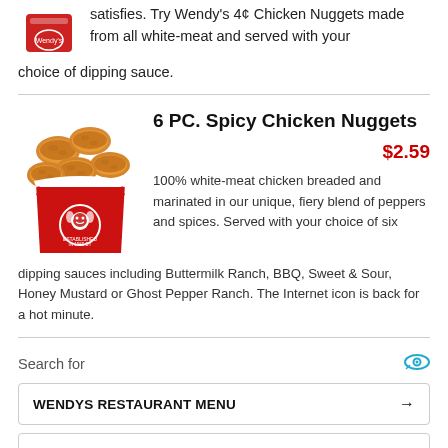satisfies. Try Wendy's 4¢ Chicken Nuggets made from all white-meat and served with your choice of dipping sauce.
6 PC. Spicy Chicken Nuggets
$2.59
[Figure (photo): Red Wendy's bucket with spicy chicken nuggets]
100% white-meat chicken breaded and marinated in our unique, fiery blend of peppers and spices. Served with your choice of six dipping sauces including Buttermilk Ranch, BBQ, Sweet & Sour, Honey Mustard or Ghost Pepper Ranch. The Internet icon is back for a hot minute.
Search for
WENDYS RESTAURANT MENU →
RESTAURANT MENUS WITH PRICES →